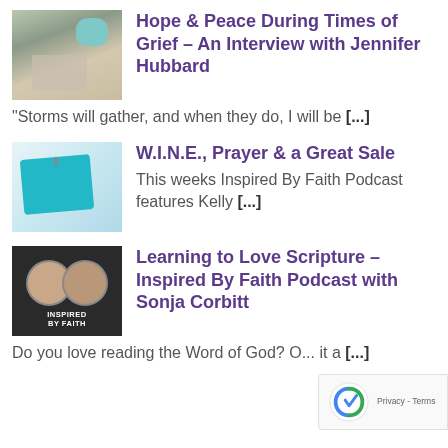[Figure (photo): Thumbnail image of a blue mug on a table with an open book, warm tones]
Hope & Peace During Times of Grief – An Interview with Jennifer Hubbard
“Storms will gather, and when they do, I will be [...]
[Figure (photo): Thumbnail image of a teal/blue gift box with a cross pendant on a light background]
W.I.N.E., Prayer & a Great Sale
This weeks Inspired By Faith Podcast features Kelly [...]
[Figure (photo): Thumbnail image showing two women's faces with INSPIRED BY FAITH text overlay on dark background]
Learning to Love Scripture – Inspired By Faith Podcast with Sonja Corbitt
Do you love reading the Word of God? O... it a [...]